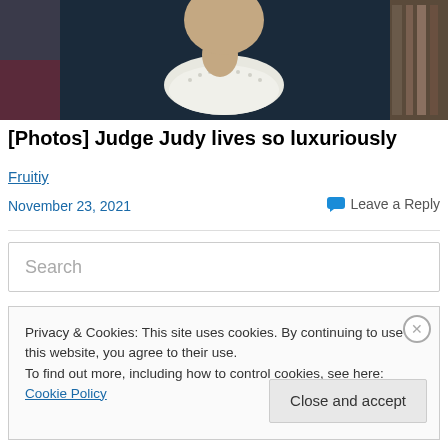[Figure (photo): Woman in dark judicial robe with white lace jabot collar, hand near chin, bookshelves in background]
[Photos] Judge Judy lives so luxuriously
Fruitiy
November 23, 2021
💬 Leave a Reply
Search
Privacy & Cookies: This site uses cookies. By continuing to use this website, you agree to their use.
To find out more, including how to control cookies, see here: Cookie Policy
Close and accept